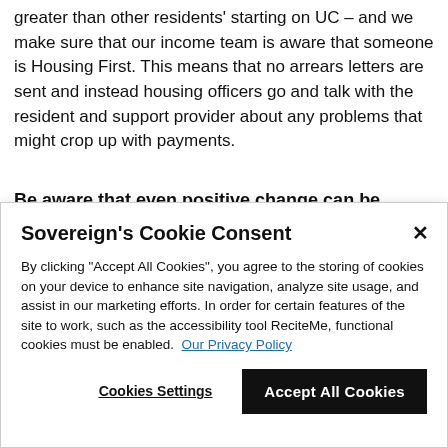With this approach we've found that debts are no greater than other residents' starting on UC – and we make sure that our income team is aware that someone is Housing First. This means that no arrears letters are sent and instead housing officers go and talk with the resident and support provider about any problems that might crop up with payments.
Be aware that even positive change can be
Sovereign's Cookie Consent
By clicking "Accept All Cookies", you agree to the storing of cookies on your device to enhance site navigation, analyze site usage, and assist in our marketing efforts. In order for certain features of the site to work, such as the accessibility tool ReciteMe, functional cookies must be enabled. Our Privacy Policy
Cookies Settings
Accept All Cookies